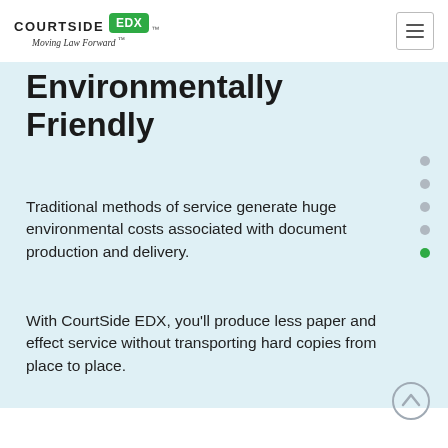[Figure (logo): Courtside EDX logo with green badge and tagline 'Moving Law Forward ™']
Environmentally Friendly
Traditional methods of service generate huge environmental costs associated with document production and delivery.
With CourtSide EDX, you'll produce less paper and effect service without transporting hard copies from place to place.